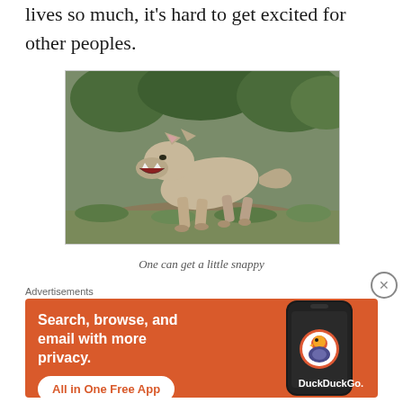lives so much, it's hard to get excited for other peoples.
[Figure (photo): A wolf or coyote with mouth open, crouching on grass in an aggressive or playful pose, with green foliage in the background.]
One can get a little snappy
Advertisements
[Figure (screenshot): DuckDuckGo advertisement: orange background with text 'Search, browse, and email with more privacy. All in One Free App' and a phone showing the DuckDuckGo app icon.]